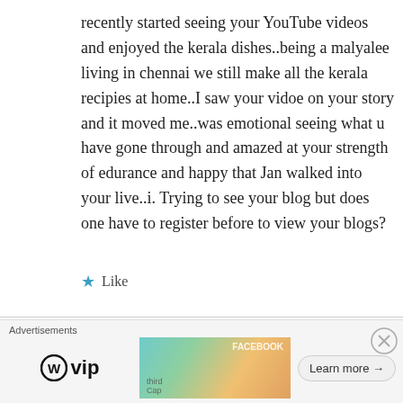recently started seeing your YouTube videos and enjoyed the kerala dishes..being a malyalee living in chennai we still make all the kerala recipies at home..I saw your vidoe on your story and it moved me..was emotional seeing what u have gone through and amazed at your strength of edurance and happy that Jan walked into your live..i. Trying to see your blog but does one have to register before to view your blogs?
★ Like
Anitha Sathyarajan on June 26, 2020 at 6:12 pm
Advertisements
[Figure (other): Advertisement banner with WordPress VIP logo, colorful card imagery, and a Learn more button]